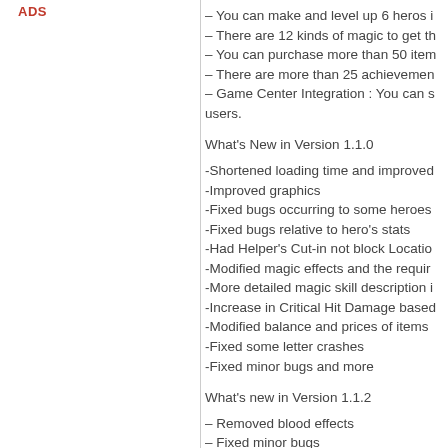ADS
– You can make and level up 6 heros i
– There are 12 kinds of magic to get th
– You can purchase more than 50 item
– There are more than 25 achievemen
– Game Center Integration : You can s users.
What's New in Version 1.1.0
-Shortened loading time and improved
-Improved graphics
-Fixed bugs occurring to some heroes
-Fixed bugs relative to hero's stats
-Had Helper's Cut-in not block Locatio
-Modified magic effects and the requir
-More detailed magic skill description i
-Increase in Critical Hit Damage based
-Modified balance and prices of items
-Fixed some letter crashes
-Fixed minor bugs and more
What's new in Version 1.1.2
– Removed blood effects
– Fixed minor bugs
What's new in Version 1.1.4